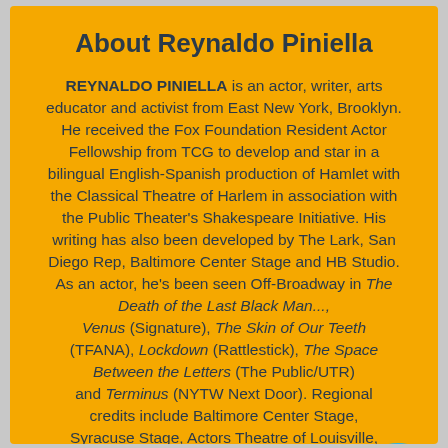About Reynaldo Piniella
REYNALDO PINIELLA is an actor, writer, arts educator and activist from East New York, Brooklyn. He received the Fox Foundation Resident Actor Fellowship from TCG to develop and star in a bilingual English-Spanish production of Hamlet with the Classical Theatre of Harlem in association with the Public Theater's Shakespeare Initiative. His writing has also been developed by The Lark, San Diego Rep, Baltimore Center Stage and HB Studio. As an actor, he's been seen Off-Broadway in The Death of the Last Black Man..., Venus (Signature), The Skin of Our Teeth (TFANA), Lockdown (Rattlestick), The Space Between the Letters (The Public/UTR) and Terminus (NYTW Next Door). Regional credits include Baltimore Center Stage, Syracuse Stage, Actors Theatre of Louisville, Cleveland Play House, Repertory Theatre of St.